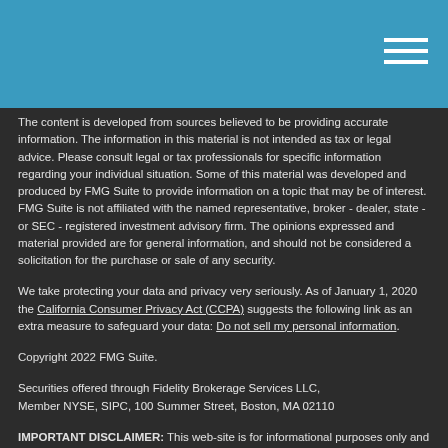The content is developed from sources believed to be providing accurate information. The information in this material is not intended as tax or legal advice. Please consult legal or tax professionals for specific information regarding your individual situation. Some of this material was developed and produced by FMG Suite to provide information on a topic that may be of interest. FMG Suite is not affiliated with the named representative, broker - dealer, state - or SEC - registered investment advisory firm. The opinions expressed and material provided are for general information, and should not be considered a solicitation for the purchase or sale of any security.
We take protecting your data and privacy very seriously. As of January 1, 2020 the California Consumer Privacy Act (CCPA) suggests the following link as an extra measure to safeguard your data: Do not sell my personal information.
Copyright 2022 FMG Suite.
Securities offered through Fidelity Brokerage Services LLC, Member NYSE, SIPC, 100 Summer Street, Boston, MA 02110
IMPORTANT DISCLAIMER: This web-site is for informational purposes only and does not constitute a complete description of our investment services or performance. This web-site is in no way a solicitation or offer to sell securities or investment advisory services except, where applicable, in states where we are registered or where an exemption or exclusion from such registration exists. Information throughout this site, whether stock quotes, charts, articles, or any other statement or statements regarding